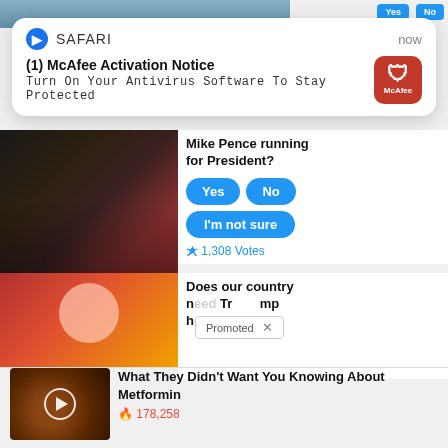[Figure (screenshot): Top partial image strip with blue Yes/No buttons]
[Figure (screenshot): Safari browser push notification for McAfee Activation Notice with McAfee red icon]
(1) McAfee Activation Notice
Turn On Your Antivirus Software To Stay Protected
[Figure (photo): Photo of two men (Trump and Pence) facing each other]
Mike Pence running for President?
Yes  No  I'm not sure
1,308 Votes
[Figure (photo): Partial photo with red background, face visible, with Promoted dialog overlay]
Does our country n... mp h...
Promoted
[Figure (photo): Photo of organ/body part held by hands with play button overlay]
What They Didn't Want You Knowing About Metformin
178,258
[Figure (photo): Photo of feet with blue coverings on toes]
Toenail Fungus Discovery Is Leaving Doctors Speechless (Try This Tonight)
2,665